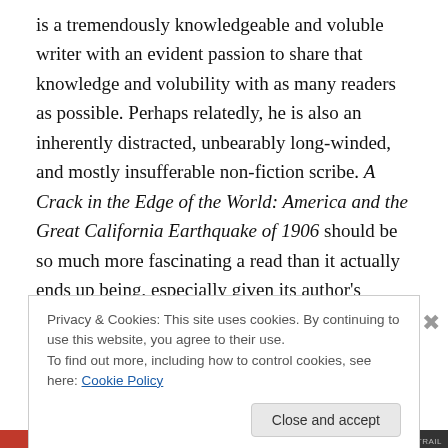is a tremendously knowledgeable and voluble writer with an evident passion to share that knowledge and volubility with as many readers as possible. Perhaps relatedly, he is also an inherently distracted, unbearably long-winded, and mostly insufferable non-fiction scribe. A Crack in the Edge of the World: America and the Great California Earthquake of 1906 should be so much more fascinating a read than it actually ends up being, especially given its author's experience as a travel writer, scholarly historian, and geologist. Winchester should be unique adapted to impart a multifarious perspective on one of the largest and most
Privacy & Cookies: This site uses cookies. By continuing to use this website, you agree to their use.
To find out more, including how to control cookies, see here: Cookie Policy
Close and accept